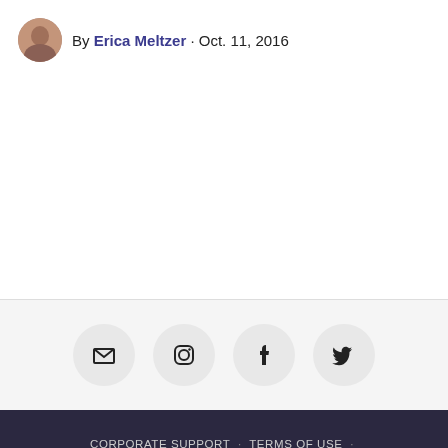By Erica Meltzer · Oct. 11, 2016
[Figure (other): Row of four social media icon buttons (email, Instagram, Facebook, Twitter) in light gray circles]
CORPORATE SUPPORT · TERMS OF USE · PRIVACY POLICY · ABOUT · SEARCH
[Figure (logo): Denverite logo — white circle with 'Denverite' text in dark navy]
Denverite is powered by Colorado Public Radio
Copyright © 2022 Colorado Public Radio